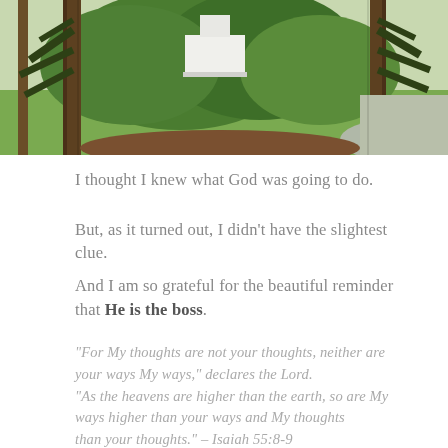[Figure (photo): Outdoor landscape photo showing tall pine trees in the foreground framing a view of a white building or house in the background, surrounded by green grass and lush trees.]
I thought I knew what God was going to do.
But, as it turned out, I didn't have the slightest clue.
And I am so grateful for the beautiful reminder that He is the boss.
“For My thoughts are not your thoughts, neither are your ways My ways,” declares the Lord. “As the heavens are higher than the earth, so are My ways higher than your ways and My thoughts than your thoughts.” – Isaiah 55:8-9